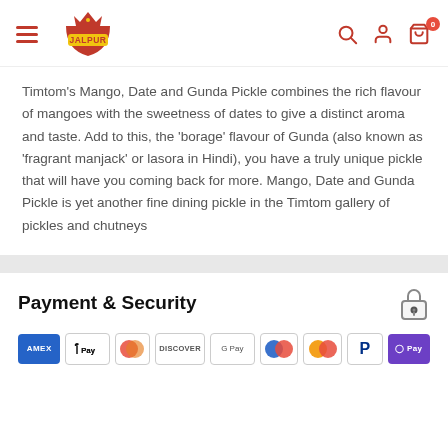Jalpur - navigation header with hamburger menu, Jalpur logo, search, account, and cart icons
Timtom’s Mango, Date and Gunda Pickle combines the rich flavour of mangoes with the sweetness of dates to give a distinct aroma and taste. Add to this, the ‘borage’ flavour of Gunda (also known as ‘fragrant manjack’ or lasora in Hindi), you have a truly unique pickle that will have you coming back for more. Mango, Date and Gunda Pickle is yet another fine dining pickle in the Timtom gallery of pickles and chutneys
Payment & Security
[Figure (logo): Payment method icons: American Express (blue), Apple Pay (white/black border), Diners Club (red/orange), Discover (white/orange), Google Pay (white), Mastercard-like (blue/red circles), Mastercard (orange/red), PayPal (blue P), OPay (purple)]